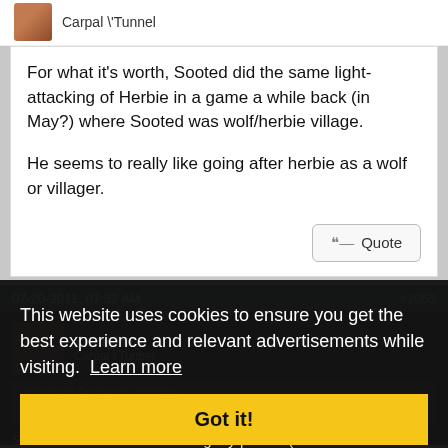Carpal \Tunnel
For what it's worth, Sooted did the same light-attacking of Herbie in a game a while back (in May?) where Sooted was wolf/herbie village.

He seems to really like going after herbie as a wolf or villager.
07-20-2011, 07:32 AM    #1063
ZomgHax
Carpal \Tunnel
This website uses cookies to ensure you get the best experience and relevant advertisements while visiting.  Learn more
Originally Posted by Slimhan
is it mets? because he's a villager.
Someone hasn't been reading my posts. :(